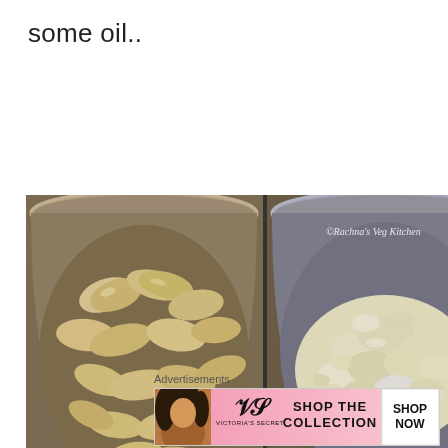some oil..
[Figure (photo): Left photo: soaked almonds in a steel bowl; right photo: ground/blended almonds (crumbly texture) in a steel bowl. Each photo has a watermark reading 'Rachna's Veg Kitchen' in cursive.]
Advertisements
[Figure (photo): Victoria's Secret advertisement banner with a model, VS logo, text 'SHOP THE COLLECTION', and a 'SHOP NOW' button on white background, pink gradient background.]